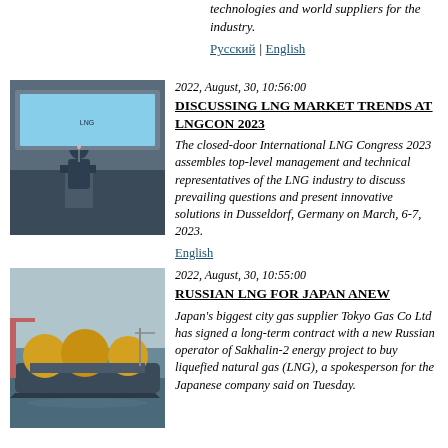technologies and world suppliers for the industry.
Русский | English
2022, August, 30, 10:56:00
DISCUSSING LNG MARKET TRENDS AT LNGCON 2023
The closed-door International LNG Congress 2023 assembles top-level management and technical representatives of the LNG industry to discuss prevailing questions and present innovative solutions in Dusseldorf, Germany on March, 6-7, 2023.
English
[Figure (photo): Man speaking at a podium at a conference with a screen in background]
2022, August, 30, 10:55:00
RUSSIAN LNG FOR JAPAN ANEW
Japan's biggest city gas supplier Tokyo Gas Co Ltd has signed a long-term contract with a new Russian operator of Sakhalin-2 energy project to buy liquefied natural gas (LNG), a spokesperson for the Japanese company said on Tuesday.
[Figure (photo): LNG tanker ship with large spherical tanks in harbor]